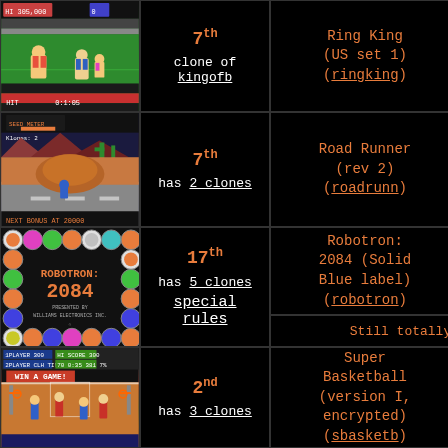[Figure (screenshot): Ring King arcade game screenshot showing boxing characters on green field]
7th
clone of kingofb
Ring King (US set 1) (ringking)
evil angel (@)
[Figure (screenshot): Road Runner arcade game screenshot showing desert scene with Road Runner character]
7th
has 2 clones
Road Runner (rev 2) (roadrunn)
evil angel (@)
[Figure (screenshot): Robotron 2084 title screen with colorful circular icons border]
17th
has 5 clones
special rules
Robotron: 2084 (Solid Blue label) (robotron)
evil angel (@)
Still totally insa
[Figure (screenshot): Super Basketball arcade game screenshot showing basketball court]
2nd
has 3 clones
Super Basketball (version I, encrypted) (sbasketb)
evil angel (@)